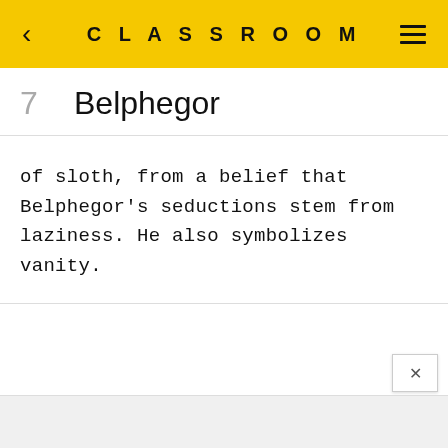CLASSROOM
7  Belphegor
of sloth, from a belief that Belphegor's seductions stem from laziness. He also symbolizes vanity.